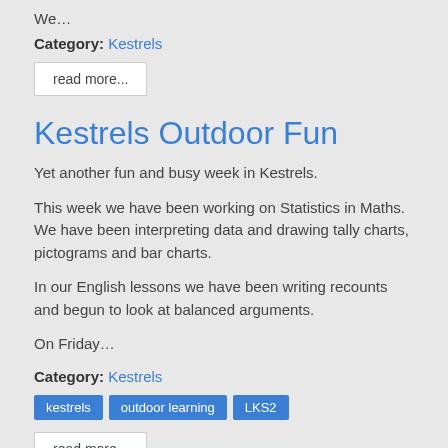We…
Category: Kestrels
read more...
Kestrels Outdoor Fun
Yet another fun and busy week in Kestrels.
This week we have been working on Statistics in Maths. We have been interpreting data and drawing tally charts, pictograms and bar charts.
In our English lessons we have been writing recounts and begun to look at balanced arguments.
On Friday…
Category: Kestrels
kestrels
outdoor learning
LKS2
read more...